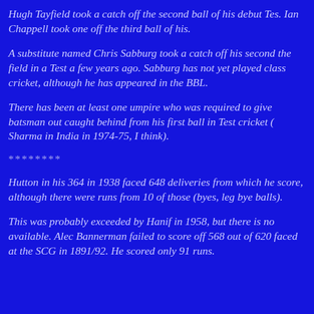Hugh Tayfield took a catch off the second ball of his debut Test. Ian Chappell took one off the third ball of his.
A substitute named Chris Sabburg took a catch off his second ball on the field in a Test a few years ago. Sabburg has not yet played first class cricket, although he has appeared in the BBL.
There has been at least one umpire who was required to give a batsman out caught behind from his first ball in Test cricket (H Sharma in India in 1974-75, I think).
********
Hutton in his 364 in 1938 faced 648 deliveries from which he did not score, although there were runs from 10 of those (byes, leg byes, no balls).
This was probably exceeded by Hanif in 1958, but there is no data available. Alec Bannerman failed to score off 568 out of 620 balls faced at the SCG in 1891/92. He scored only 91 runs.